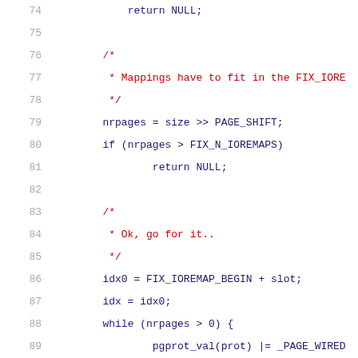[Figure (screenshot): Source code listing in C, lines 74-95, showing ioremap function implementation with line numbers, syntax highlighting: red for comments, blue/dark for code.]